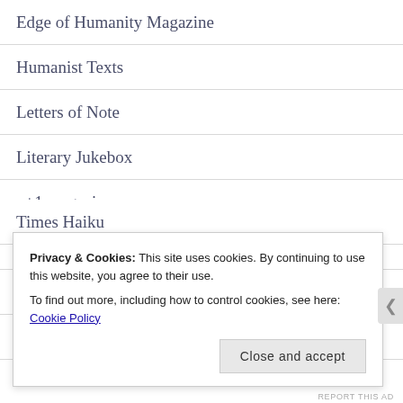Edge of Humanity Magazine
Humanist Texts
Letters of Note
Literary Jukebox
n+1 magazine
Poetry Page of PGR
The Beauty We Love
The Poetry Center at Smith College
Times Haiku
Privacy & Cookies: This site uses cookies. By continuing to use this website, you agree to their use.
To find out more, including how to control cookies, see here: Cookie Policy
Close and accept